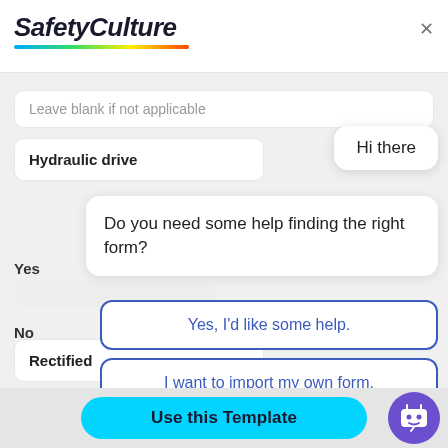SafetyCulture
Leave blank if not applicable
Hi there
Hydraulic drive
Do you need some help finding the right form?
Yes
Yes, I'd like some help.
No
I want to import my own form.
No, I'm good. Thanks!
Rectified
Use this Template